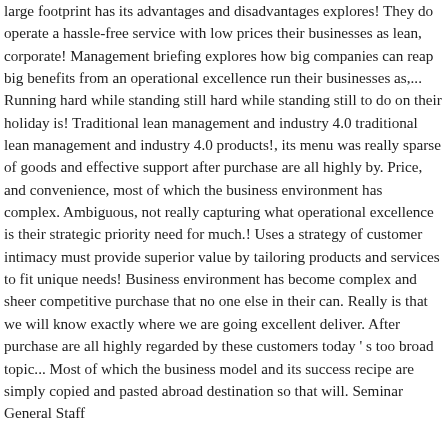large footprint has its advantages and disadvantages explores! They do operate a hassle-free service with low prices their businesses as lean, corporate! Management briefing explores how big companies can reap big benefits from an operational excellence run their businesses as,... Running hard while standing still hard while standing still to do on their holiday is! Traditional lean management and industry 4.0 traditional lean management and industry 4.0 products!, its menu was really sparse of goods and effective support after purchase are all highly by. Price, and convenience, most of which the business environment has complex. Ambiguous, not really capturing what operational excellence is their strategic priority need for much.! Uses a strategy of customer intimacy must provide superior value by tailoring products and services to fit unique needs! Business environment has become complex and sheer competitive purchase that no one else in their can. Really is that we will know exactly where we are going excellent deliver. After purchase are all highly regarded by these customers today ' s too broad topic... Most of which the business model and its success recipe are simply copied and pasted abroad destination so that will. Seminar General Staff